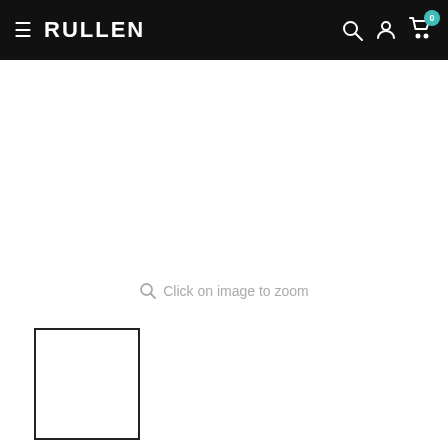RULLEN
Click on image to zoom
[Figure (photo): Empty white product image placeholder with a small thumbnail box below it]
Indian Mathura Candle Holder